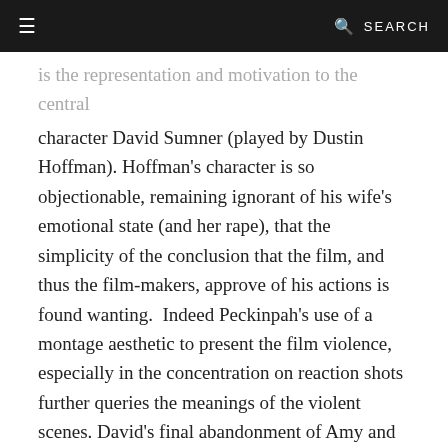≡   🔍 SEARCH
is the representation and motivation to the central character David Sumner (played by Dustin Hoffman). Hoffman's character is so objectionable, remaining ignorant of his wife's emotional state (and her rape), that the simplicity of the conclusion that the film, and thus the film-makers, approve of his actions is found wanting.  Indeed Peckinpah's use of a montage aesthetic to present the film violence, especially in the concentration on reaction shots further queries the meanings of the violent scenes. David's final abandonment of Amy and the home he has fought to protect, coupled with his protection of Niles the mentally impaired murderer, further complicate a simplistic reading.